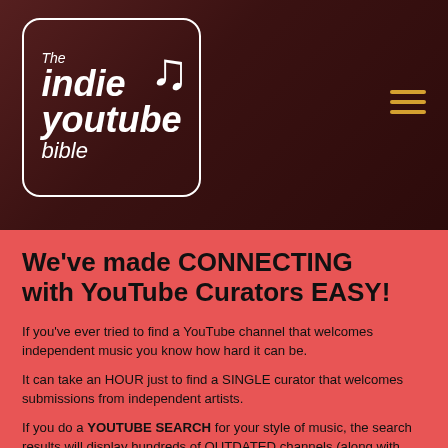[Figure (logo): The Indie YouTube Bible logo — white italic text on dark red/brown banner background, with a rounded rectangle border around the logo text and a musical note icon]
We've made CONNECTING with YouTube Curators EASY!
If you've ever tried to find a YouTube channel that welcomes independent music you know how hard it can be.
It can take an HOUR just to find a SINGLE curator that welcomes submissions from independent artists.
If you do a YOUTUBE SEARCH for your style of music, the search results will display hundreds of OUTDATED channels (along with DOZENS of channels that only